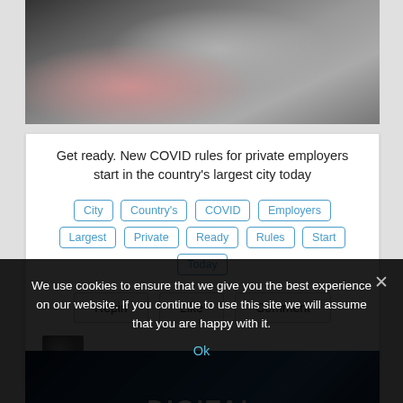[Figure (photo): Close-up photo of hands, dark gloves against a light background]
Get ready. New COVID rules for private employers start in the country's largest city today
City
Country's
COVID
Employers
Largest
Private
Ready
Rules
Start
Today
Repin   Like   Comment
admin
[Figure (photo): Digital Marketing promotional image with blue digital text background]
We use cookies to ensure that we give you the best experience on our website. If you continue to use this site we will assume that you are happy with it.
Ok